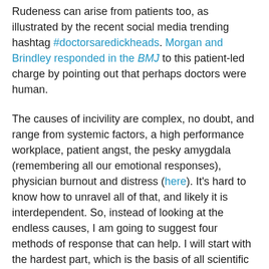Rudeness can arise from patients too, as illustrated by the recent social media trending hashtag #doctorsaredickheads. Morgan and Brindley responded in the BMJ to this patient-led charge by pointing out that perhaps doctors were human.
The causes of incivility are complex, no doubt, and range from systemic factors, a high performance workplace, patient angst, the pesky amygdala (remembering all our emotional responses), physician burnout and distress (here). It's hard to know how to unravel all of that, and likely it is interdependent. So, instead of looking at the endless causes, I am going to suggest four methods of response that can help. I will start with the hardest part, which is the basis of all scientific dialogue, and finish with the last of them, which is the most important.
Method 1: Hegel and the cognitive, intellectual approach